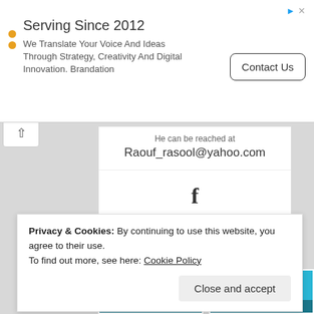[Figure (screenshot): Advertisement banner: 'Serving Since 2012 - We Translate Your Voice And Ideas Through Strategy, Creativity And Digital Innovation. Brandation' with Contact Us button]
He can be reached at
Raouf_rasool@yahoo.com
[Figure (logo): Facebook logo icon]
Share this:
[Figure (screenshot): Tweet button, Facebook Share 0 button, WhatsApp button, Telegram button]
Privacy & Cookies: By continuing to use this website, you agree to their use.
To find out more, see here: Cookie Policy
Close and accept
[Figure (screenshot): Two Wide Angle Raouf Rasool thumbnail images at bottom]